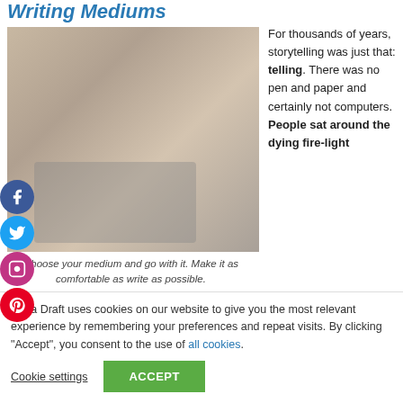Writing Mediums
[Figure (photo): Woman with long blonde hair typing on a laptop at a wooden desk, with a can visible in the background]
Choose your medium and go with it. Make it as comfortable as write as possible.
For thousands of years, storytelling was just that: telling. There was no pen and paper and certainly not computers. People sat around the dying fire-light
Extra Draft uses cookies on our website to give you the most relevant experience by remembering your preferences and repeat visits. By clicking “Accept”, you consent to the use of all cookies.
Cookie settings | ACCEPT